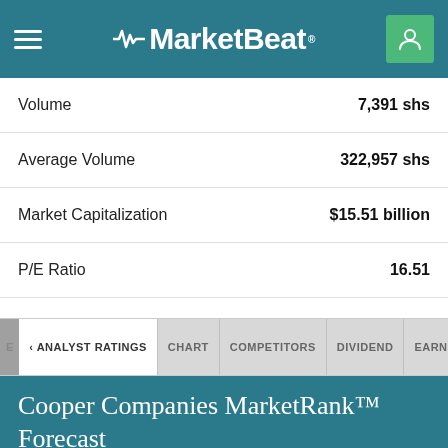MarketBeat
| Metric | Value |
| --- | --- |
| Volume | 7,391 shs |
| Average Volume | 322,957 shs |
| Market Capitalization | $15.51 billion |
| P/E Ratio | 16.51 |
| Dividend Yield | 0.02% |
| Price Target | $425.67 |
ANALYST RATINGS  CHART  COMPETITORS  DIVIDEND  EARNINGS  FINAN
Cooper Companies MarketRank™ Forecast